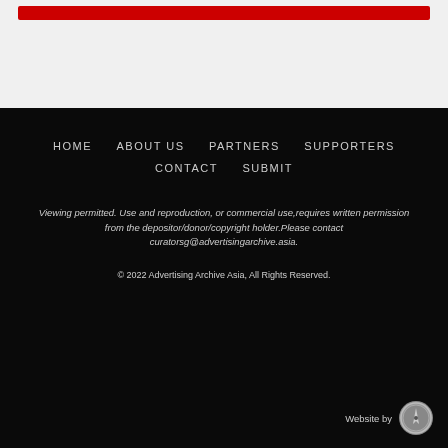[Figure (other): Red banner strip at top of page]
HOME   ABOUT US   PARTNERS   SUPPORTERS   CONTACT   SUBMIT
Viewing permitted. Use and reproduction, or commercial use,requires written permission from the depositor/donor/copyright holder.Please contact curatorsg@advertisingarchive.asia.
© 2022 Advertising Archive Asia, All Rights Reserved.
Website by